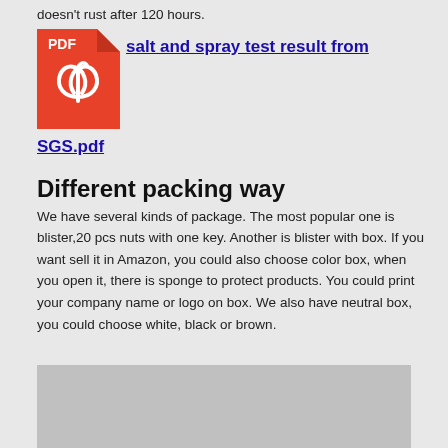doesn't rust after 120 hours.
[Figure (other): Red PDF file icon with Adobe Acrobat logo (PDF reader icon)]
salt and spray test result from
SGS.pdf
Different packing way
We have several kinds of package. The most popular one is blister,20 pcs nuts with one key. Another is blister with box. If you want sell it in Amazon, you could also choose color box, when you open it, there is sponge to protect products. You could print your company name or logo on box. We also have neutral box, you could choose white, black or brown.
[Figure (photo): Gray placeholder image of product packaging]